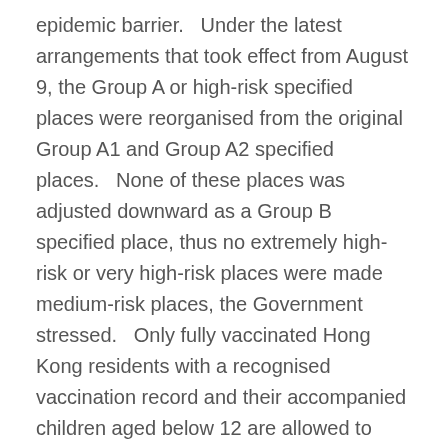epidemic barrier.   Under the latest arrangements that took effect from August 9, the Group A or high-risk specified places were reorganised from the original Group A1 and Group A2 specified places.   None of these places was adjusted downward as a Group B specified place, thus no extremely high-risk or very high-risk places were made medium-risk places, the Government stressed.   Only fully vaccinated Hong Kong residents with a recognised vaccination record and their accompanied children aged below 12 are allowed to board flights for Hong Kong from high-risk places under the latest arrangements.   Upon arrival, they are subject to the test and hold arrangement at the airport. Then they can proceed to a designated quarantine hotel to undergo compulsory quarantine for 21 days only if their test results are negative, during which they must undergo four tests.   They are also required to undergo compulsory testing in a community testing centre on the 26th day of arrival in Hong Kong.   As for Group B or medium-risk specified places under the latest arrangements, they comprise the original Group B and Group C